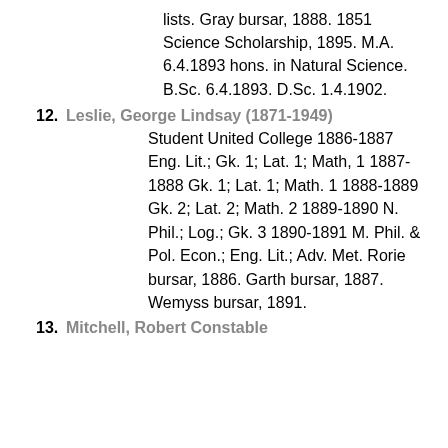lists. Gray bursar, 1888. 1851 Science Scholarship, 1895. M.A. 6.4.1893 hons. in Natural Science. B.Sc. 6.4.1893. D.Sc. 1.4.1902.
12. Leslie, George Lindsay (1871-1949)
Student United College 1886-1887 Eng. Lit.; Gk. 1; Lat. 1; Math, 1 1887-1888 Gk. 1; Lat. 1; Math. 1 1888-1889 Gk. 2; Lat. 2; Math. 2 1889-1890 N. Phil.; Log.; Gk. 3 1890-1891 M. Phil. & Pol. Econ.; Eng. Lit.; Adv. Met. Rorie bursar, 1886. Garth bursar, 1887. Wemyss bursar, 1891.
13. Mitchell, Robert Constable